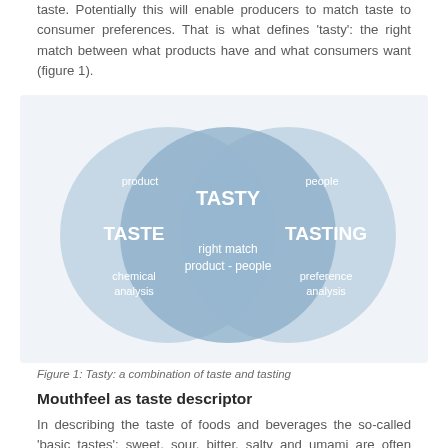taste. Potentially this will enable producers to match taste to consumer preferences. That is what defines 'tasty': the right match between what products have and what consumers want (figure 1).
[Figure (infographic): Venn diagram with three overlapping circles. Left circle (light blue): 'TASTE' bold, with 'product' above and 'chemical analysis' below. Right circle (light blue): 'TASTING' bold, with 'people' above and 'preference analysis' below. Center overlapping circle (medium blue): 'TASTY' bold at top, 'right match product - people' below.]
Figure 1: Tasty: a combination of taste and tasting
Mouthfeel as taste descriptor
In describing the taste of foods and beverages the so-called 'basic tastes': sweet, sour, bitter, salty and umami are often used. Yet, clearly, what we eat and